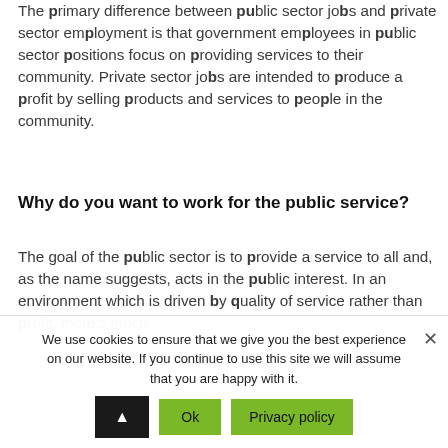The primary difference between public sector jobs and private sector employment is that government employees in public sector positions focus on providing services to their community. Private sector jobs are intended to produce a profit by selling products and services to people in the community.
Why do you want to work for the public service?
The goal of the public sector is to provide a service to all and, as the name suggests, acts in the public interest. In an environment which is driven by quality of service rather than profit, there's much
We use cookies to ensure that we give you the best experience on our website. If you continue to use this site we will assume that you are happy with it.